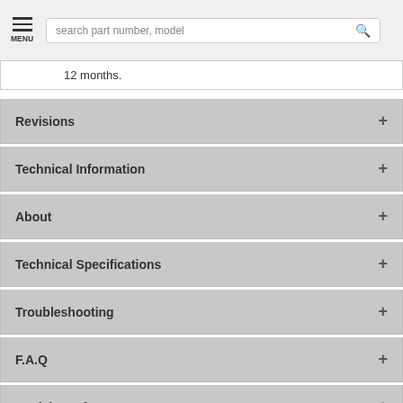MENU | search part number, model
12 months.
Revisions
Technical Information
About
Technical Specifications
Troubleshooting
F.A.Q
Revision Info
Reviews
Download our IC693CPU374 Wiring Diagram